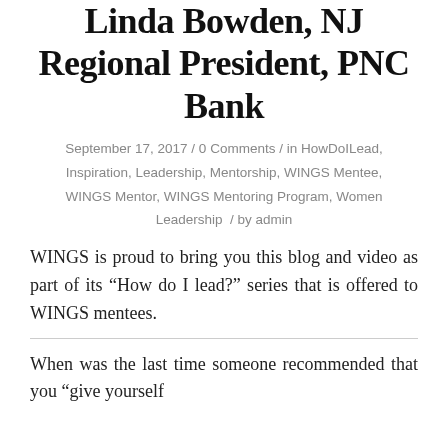Linda Bowden, NJ Regional President, PNC Bank
September 17, 2017 / 0 Comments / in HowDoILead, Inspiration, Leadership, Mentorship, WINGS Mentee, WINGS Mentor, WINGS Mentoring Program, Women Leadership / by admin
WINGS is proud to bring you this blog and video as part of its “How do I lead?” series that is offered to WINGS mentees.
When was the last time someone recommended that you “give yourself